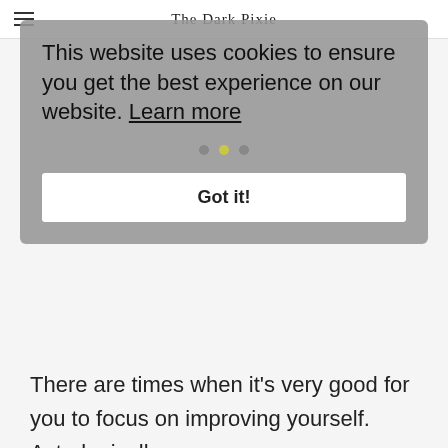The Dark Pixie
This website uses cookies to ensure you get the best experience on our website. Learn more
Got it!
There are times when it's very good for you to focus on improving yourself. Astrologically, you